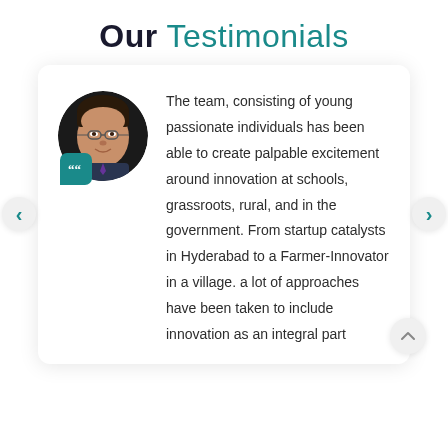Our Testimonials
[Figure (photo): Circular portrait photo of a man wearing glasses and a suit, with a teal quote-mark badge overlapping the bottom-left of the circle.]
The team, consisting of young passionate individuals has been able to create palpable excitement around innovation at schools, grassroots, rural, and in the government. From startup catalysts in Hyderabad to a Farmer-Innovator in a village. a lot of approaches have been taken to include innovation as an integral part